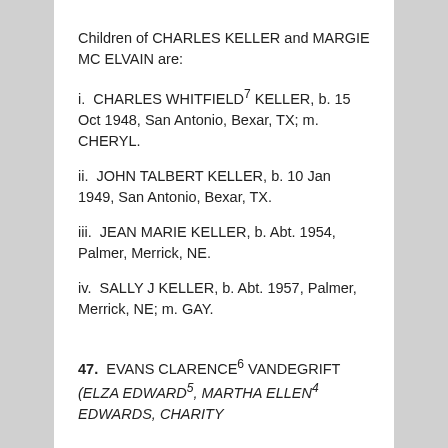Children of CHARLES KELLER and MARGIE MC ELVAIN are:
i.  CHARLES WHITFIELD⁷ KELLER, b. 15 Oct 1948, San Antonio, Bexar, TX; m. CHERYL.
ii.  JOHN TALBERT KELLER, b. 10 Jan 1949, San Antonio, Bexar, TX.
iii.  JEAN MARIE KELLER, b. Abt. 1954, Palmer, Merrick, NE.
iv.  SALLY J KELLER, b. Abt. 1957, Palmer, Merrick, NE; m. GAY.
47.  EVANS CLARENCE⁶ VANDEGRIFT (ELZA EDWARD⁵, MARTHA ELLEN⁴ EDWARDS, CHARITY³ ... ² ... ¹)